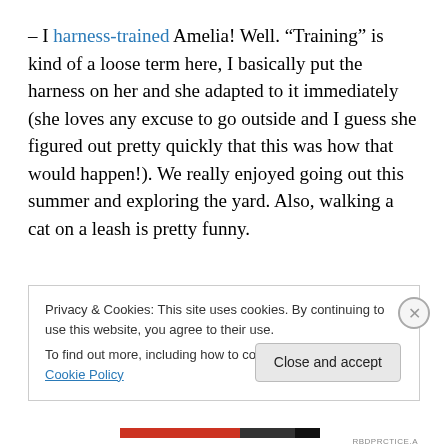– I harness-trained Amelia! Well. “Training” is kind of a loose term here, I basically put the harness on her and she adapted to it immediately (she loves any excuse to go outside and I guess she figured out pretty quickly that this was how that would happen!). We really enjoyed going out this summer and exploring the yard. Also, walking a cat on a leash is pretty funny.
Privacy & Cookies: This site uses cookies. By continuing to use this website, you agree to their use.
To find out more, including how to control cookies, see here: Cookie Policy